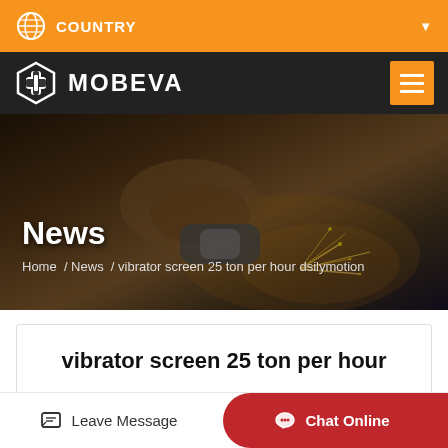COUNTRY
[Figure (logo): MOBEVA company logo with shield icon on dark navigation bar]
[Figure (photo): Worker using an angle grinder with sparks flying, dark industrial background — hero banner image]
News
Home / News / vibrator screen 25 ton per hour dsilymotion
vibrator screen 25 ton per hour
Leave Message
Chat Online